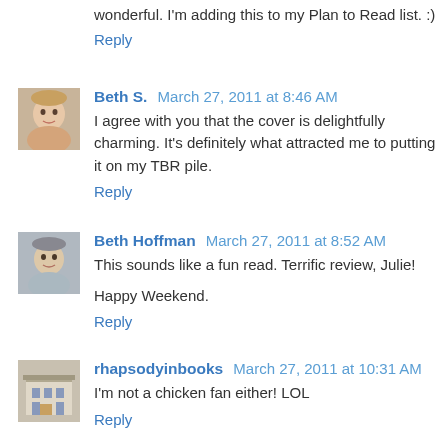wonderful. I'm adding this to my Plan to Read list. :)
Reply
Beth S.  March 27, 2011 at 8:46 AM
I agree with you that the cover is delightfully charming. It's definitely what attracted me to putting it on my TBR pile.
Reply
Beth Hoffman  March 27, 2011 at 8:52 AM
This sounds like a fun read. Terrific review, Julie!
Happy Weekend.
Reply
rhapsodyinbooks  March 27, 2011 at 10:31 AM
I'm not a chicken fan either! LOL
Reply